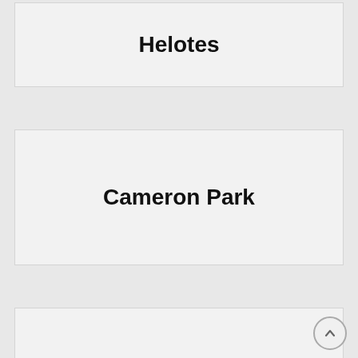Helotes
Cameron Park
Dickinson
Mesquite
Wake Village